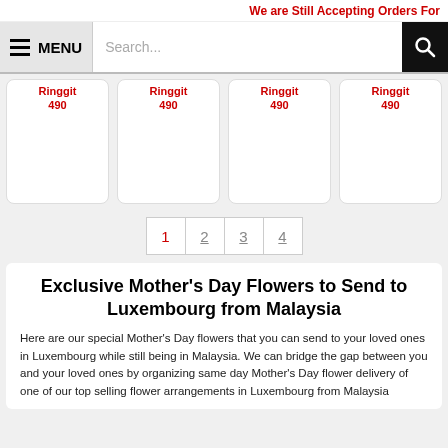We are Still Accepting Orders For
[Figure (screenshot): Navigation bar with hamburger menu icon, MENU label, search input box, and search button]
Ringgit 490 (x4 product cards)
[Figure (other): Pagination bar with page numbers 1, 2, 3, 4]
Exclusive Mother's Day Flowers to Send to Luxembourg from Malaysia
Here are our special Mother's Day flowers that you can send to your loved ones in Luxembourg while still being in Malaysia. We can bridge the gap between you and your loved ones by organizing same day Mother's Day flower delivery of one of our top selling flower arrangements in Luxembourg from Malaysia